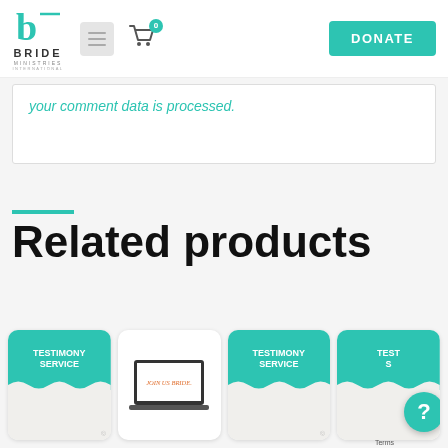[Figure (logo): Bride Ministries International logo with teal stylized 'b' lettermark above BRIDE MINISTRIES INTERNATIONAL text]
[Figure (screenshot): Navigation bar with menu icon, cart icon showing 0 items, and teal DONATE button]
your comment data is processed.
Related products
[Figure (photo): Testimony Service product card with teal wave background]
[Figure (photo): Laptop showing JOIN US BRIDE. screen]
[Figure (photo): Testimony Service product card with teal wave background]
[Figure (photo): Partially visible Testimony Service product card with teal wave background, overlaid by help badge]